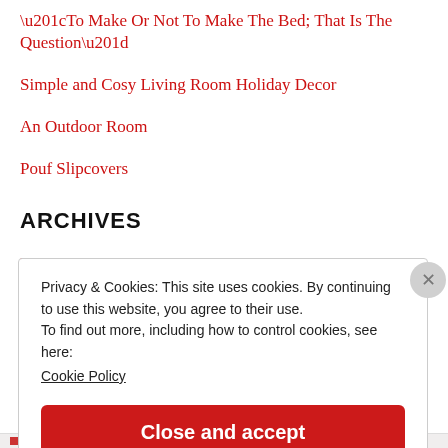“To Make Or Not To Make The Bed; That Is The Question”
Simple and Cosy Living Room Holiday Decor
An Outdoor Room
Pouf Slipcovers
ARCHIVES
May 2021
Privacy & Cookies: This site uses cookies. By continuing to use this website, you agree to their use.
To find out more, including how to control cookies, see here:
Cookie Policy
Close and accept